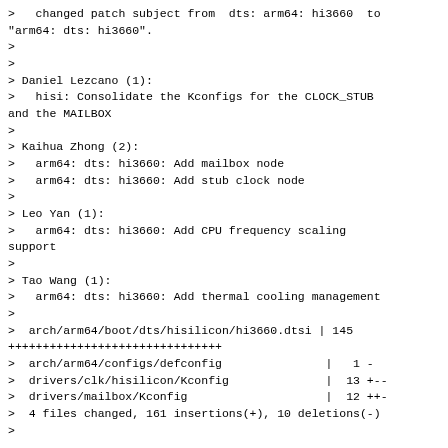>   changed patch subject from  dts: arm64: hi3660  to
"arm64: dts: hi3660".
>
>
> Daniel Lezcano (1):
>   hisi: Consolidate the Kconfigs for the CLOCK_STUB
and the MAILBOX
>
> Kaihua Zhong (2):
>   arm64: dts: hi3660: Add mailbox node
>   arm64: dts: hi3660: Add stub clock node
>
> Leo Yan (1):
>   arm64: dts: hi3660: Add CPU frequency scaling
support
>
> Tao Wang (1):
>   arm64: dts: hi3660: Add thermal cooling management
>
>  arch/arm64/boot/dts/hisilicon/hi3660.dtsi | 145
+++++++++++++++++++++++++++++++
>  arch/arm64/configs/defconfig               |   1 -
>  drivers/clk/hisilicon/Kconfig              |  13 +--
>  drivers/mailbox/Kconfig                    |  12 ++-
>  4 files changed, 161 insertions(+), 10 deletions(-)
>

Applied patch 1 to 4.
Thanks!

Best Regards,